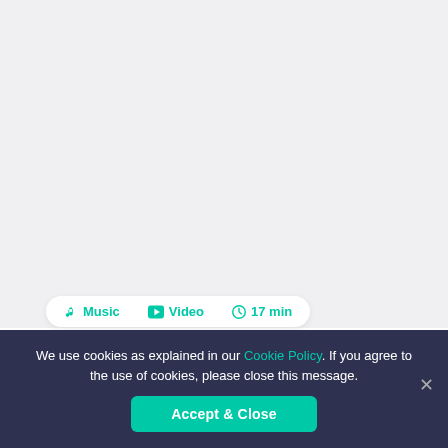[Figure (screenshot): Light gray background content area, mostly blank, representing a webpage above the cookie banner]
🎵 Music 🎬 Video ⏱ 17 min
We use cookies as explained in our Cookie Policy. If you agree to the use of cookies, please close this message.
Accept & Close